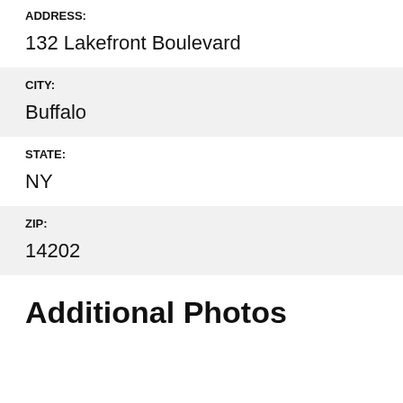ADDRESS:
132 Lakefront Boulevard
CITY:
Buffalo
STATE:
NY
ZIP:
14202
Additional Photos